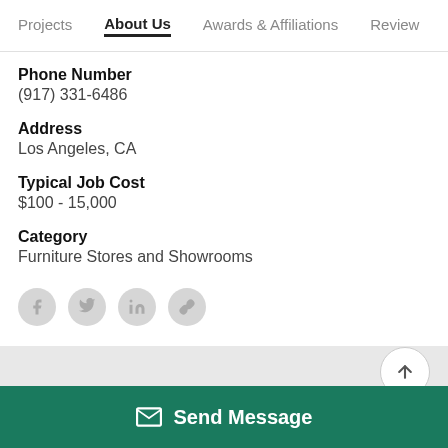Projects | About Us | Awards & Affiliations | Review
Phone Number
(917) 331-6486
Address
Los Angeles, CA
Typical Job Cost
$100 - 15,000
Category
Furniture Stores and Showrooms
[Figure (other): Social media icons: Facebook, Twitter, LinkedIn, Link]
Send Message